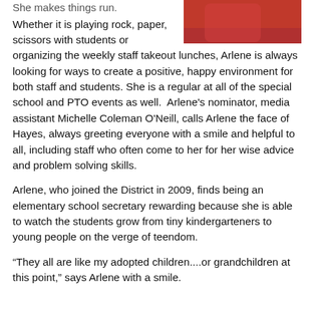[Figure (photo): Partial photo of a person wearing a red top, cropped at top of page]
She makes things run.
Whether it is playing rock, paper, scissors with students or organizing the weekly staff takeout lunches, Arlene is always looking for ways to create a positive, happy environment for both staff and students. She is a regular at all of the special school and PTO events as well.  Arlene's nominator, media assistant Michelle Coleman O'Neill, calls Arlene the face of Hayes, always greeting everyone with a smile and helpful to all, including staff who often come to her for her wise advice and problem solving skills.
Arlene, who joined the District in 2009, finds being an elementary school secretary rewarding because she is able to watch the students grow from tiny kindergarteners to young people on the verge of teendom.
“They all are like my adopted children....or grandchildren at this point,” says Arlene with a smile.